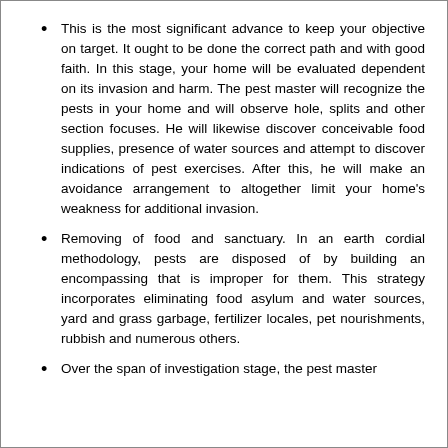This is the most significant advance to keep your objective on target. It ought to be done the correct path and with good faith. In this stage, your home will be evaluated dependent on its invasion and harm. The pest master will recognize the pests in your home and will observe hole, splits and other section focuses. He will likewise discover conceivable food supplies, presence of water sources and attempt to discover indications of pest exercises. After this, he will make an avoidance arrangement to altogether limit your home's weakness for additional invasion.
Removing of food and sanctuary. In an earth cordial methodology, pests are disposed of by building an encompassing that is improper for them. This strategy incorporates eliminating food asylum and water sources, yard and grass garbage, fertilizer locales, pet nourishments, rubbish and numerous others.
Over the span of investigation stage, the pest master